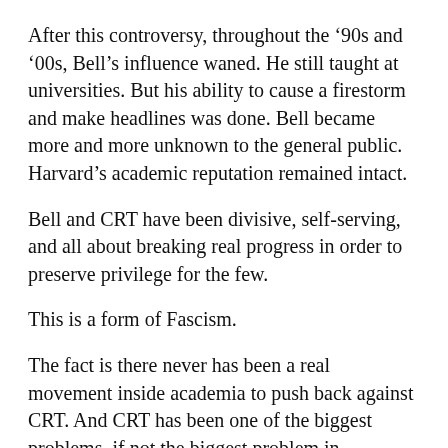After this controversy, throughout the ‘90s and ‘00s, Bell’s influence waned. He still taught at universities. But his ability to cause a firestorm and make headlines was done. Bell became more and more unknown to the general public. Harvard’s academic reputation remained intact.
Bell and CRT have been divisive, self-serving, and all about breaking real progress in order to preserve privilege for the few.
This is a form of Fascism.
The fact is there never has been a real movement inside academia to push back against CRT. And CRT has been one of the biggest problems, if not the biggest problem in academia over the past half century. Even after Bell died in 2011, its rotten impact unfortunately remained.